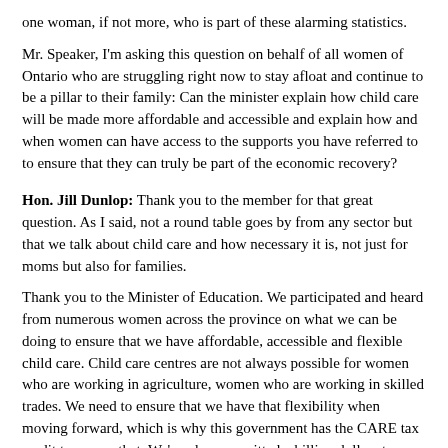one woman, if not more, who is part of these alarming statistics.
Mr. Speaker, I'm asking this question on behalf of all women of Ontario who are struggling right now to stay afloat and continue to be a pillar to their family: Can the minister explain how child care will be made more affordable and accessible and explain how and when women can have access to the supports you have referred to to ensure that they can truly be part of the economic recovery?
Hon. Jill Dunlop: Thank you to the member for that great question. As I said, not a round table goes by from any sector but that we talk about child care and how necessary it is, not just for moms but also for families.
Thank you to the Minister of Education. We participated and heard from numerous women across the province on what we can be doing to ensure that we have affordable, accessible and flexible child care. Child care centres are not always possible for women who are working in agriculture, women who are working in skilled trades. We need to ensure that we have that flexibility when moving forward, which is why this government has the CARE tax credit to ensure that. We've also committed a billion dollars to build thousands of new child care spaces in Ontario—as I said, 16,000 spaces created in 2020 alone.